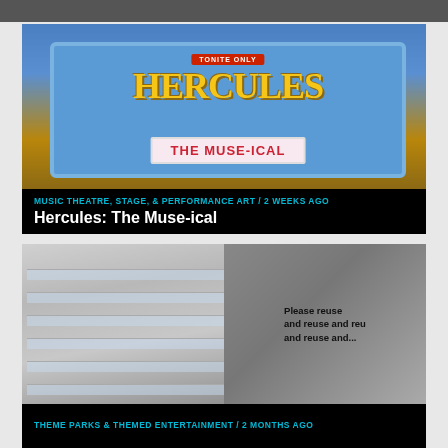[Figure (photo): Hercules: The Muse-ical promotional image showing animated-style signage with 'TONITE ONLY HERCULES THE MUSE-ICAL' on a blue background]
MUSIC THEATRE, STAGE, & PERFORMANCE ART / 2 weeks ago
Hercules: The Muse-ical
[Figure (photo): Black and white photo of a modernist building exterior with curved glass windows, and a bag with text 'Please reuse and reuse and reuse and...' visible on right side]
THEME PARKS & THEMED ENTERTAINMENT / 2 months ago